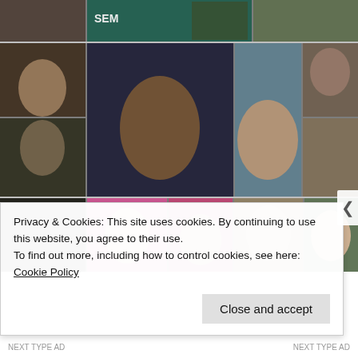[Figure (photo): A collage/grid of multiple photographs showing various people, including mugshots, courtroom photos, and personal photos. Grid contains approximately 3-4 rows with 3-6 images per row.]
Privacy & Cookies: This site uses cookies. By continuing to use this website, you agree to their use.
To find out more, including how to control cookies, see here: Cookie Policy
Close and accept